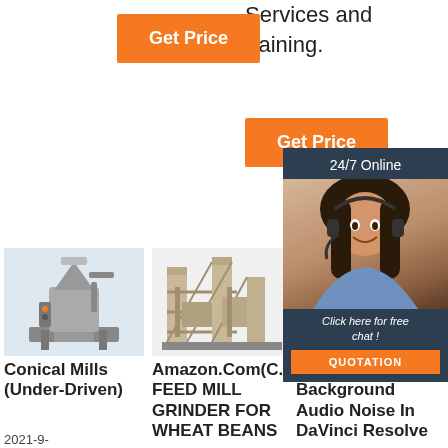Services and training.
[Figure (other): Orange 'Get Price' button (top left)]
[Figure (other): Orange 'Get Price' button (middle right)]
[Figure (other): Chat widget overlay showing '24/7 Online', female agent with headset, 'Click here for free chat!' and orange QUOTATION button]
[Figure (photo): Conical mill machine (under-driven), metallic industrial equipment on light blue background]
Conical Mills (Under-Driven)
2021-9-
[Figure (photo): Feed mill grinder industrial equipment structure on white background]
Amazon.Com(C... FEED MILL GRINDER FOR WHEAT BEANS
[Figure (photo): Partially visible industrial equipment image]
Remove Background Audio Noise In DaVinci Resolve